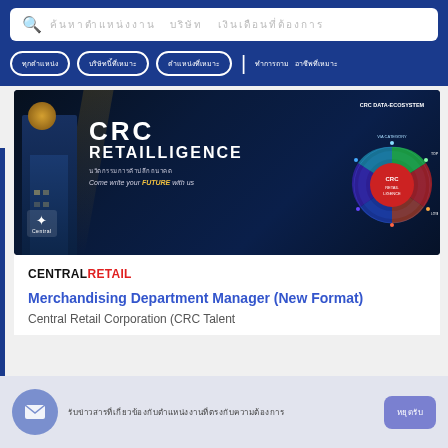Search bar with Thai placeholder text
[Figure (screenshot): CRC Retailligence banner with building photo, CRC logo, Thai text, and data ecosystem wheel diagram on dark blue background]
CENTRALRETAIL
Merchandising Department Manager (New Format)
Central Retail Corporation (CRC Talent
Email notification bar with Thai text and subscribe button